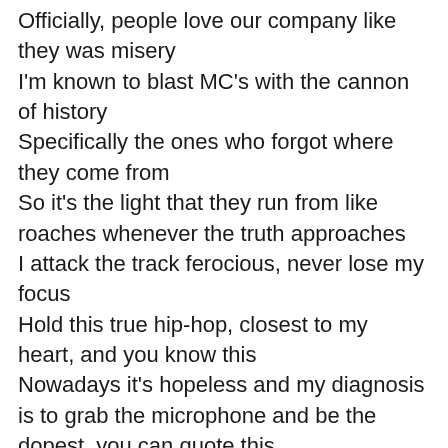Officially, people love our company like they was misery
I'm known to blast MC's with the cannon of history
Specifically the ones who forgot where they come from
So it's the light that they run from like roaches whenever the truth approaches
I attack the track ferocious, never lose my focus
Hold this true hip-hop, closest to my heart, and you know this
Nowadays it's hopeless and my diagnosis is to grab the microphone and be the dopest, you can quote this
Niggaz sound like they injected with collagen
You followin these hollow men no honor when you bite off more than you could chew or could be swallowin
Sorry man I ain't got no pity for you to wallow in
Quit hollerin before you get stomped out with my Solomon's
All the way from Lynn Street, to (?)